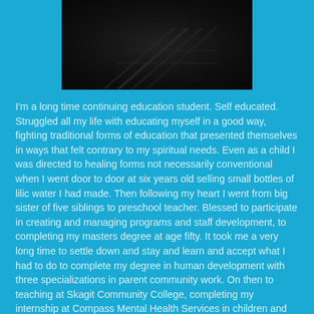[Figure (photo): Dark moody black and white photograph, partially visible at top of page, appears to show steps or a staircase structure in an outdoor or dim setting.]
I'm a long time continuing education student. Self educated. Struggled all my life with educating myself in a good way, fighting traditional forms of education that presented themselves in ways that felt contrary to my spiritual needs. Even as a child I was directed to healing forms not necessarily conventional when I went door to door at six years old selling small bottles of lilic water I had made. Then following my heart I went from big sister of five siblings to preschool teacher. Blessed to participate in creating and managing programs and staff development, to completing my masters degree at age fifty. It took me a very long time to settle down and stay and learn and accept what I had to do to complete my degree in human development with three specializations in parent community work. On then to teaching at Skagit Community College, completing my internship at Compass Mental Health Services in children and family services, and receiving my license as a mental health counselor. Now here I am an elder and remain a